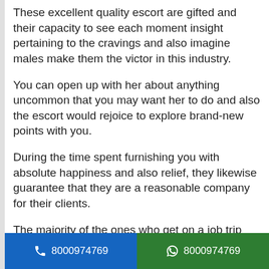These excellent quality escort are gifted and their capacity to see each moment insight pertaining to the cravings and also imagine males make them the victor in this industry.
You can open up with her about anything uncommon that you may want her to do and also the escort would rejoice to explore brand-new points with you.
During the time spent furnishing you with absolute happiness and also relief, they likewise guarantee that they are a reasonable company for their clients.
The majority of the ones who get on a job trip alone or with a great deal of various men can most
8000974769   8000974769